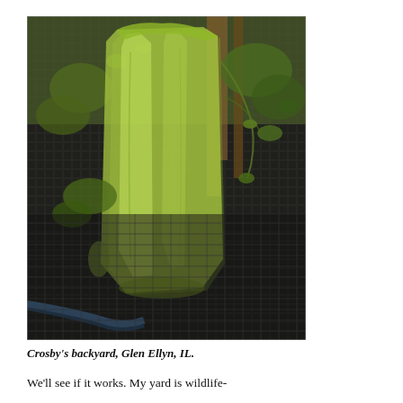[Figure (photo): Close-up photograph of a translucent green plastic bag hanging among green plants and vines, with a dark grid/mesh background visible behind it. The bag appears to be hanging in a garden setting.]
Crosby's backyard, Glen Ellyn, IL.
We'll see if it works. My yard is wildlife-